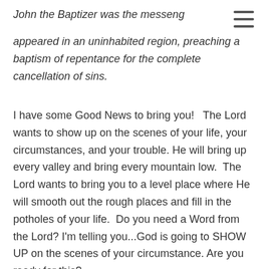John the Baptizer was the messenger appeared in an uninhabited region, preaching a baptism of repentance for the complete cancellation of sins.
I have some Good News to bring you!   The Lord wants to show up on the scenes of your life, your circumstances, and your trouble. He will bring up every valley and bring every mountain low.  The Lord wants to bring you to a level place where He will smooth out the rough places and fill in the potholes of your life.  Do you need a Word from the Lord? I'm telling you...God is going to SHOW UP on the scenes of your circumstance. Are you ready for this?